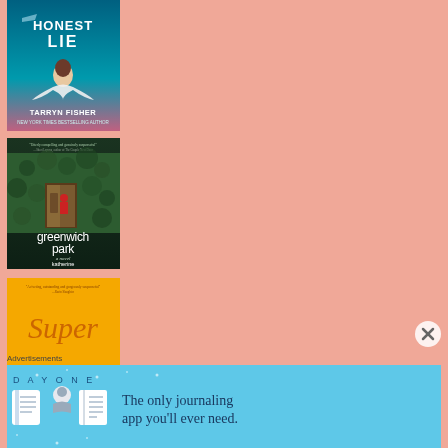[Figure (illustration): Book cover: 'Honest Lie' by Tarryn Fisher. Teal/blue background with a woman figure. Text reads 'HONEST LIE' and 'TARRYN FISHER NEW YORK TIMES BESTSELLING AUTHOR']
[Figure (illustration): Book cover: 'Greenwich Park' by Katherine Faulkner. Dark green ivy-covered house with a figure in doorway. Text reads 'greenwich park', 'a novel', 'katherine faulkner']
[Figure (illustration): Book cover: 'Super' something — yellow/orange cover, partially visible]
Advertisements
[Figure (illustration): Day One app advertisement banner. Light blue background with icons of a journal, person, and notebook. Text: 'DAY ONE' and 'The only journaling app you'll ever need.']